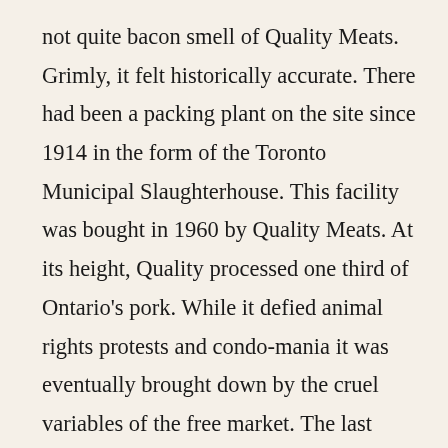not quite bacon smell of Quality Meats. Grimly, it felt historically accurate. There had been a packing plant on the site since 1914 in the form of the Toronto Municipal Slaughterhouse. This facility was bought in 1960 by Quality Meats. At its height, Quality processed one third of Ontario's pork. While it defied animal rights protests and condo-mania it was eventually brought down by the cruel variables of the free market. The last straw was the piglet-killing virus of 2014. Thankfully for Sanagan's, and the pigs, our small-scale pork farmers were unaffected by the outbreak.